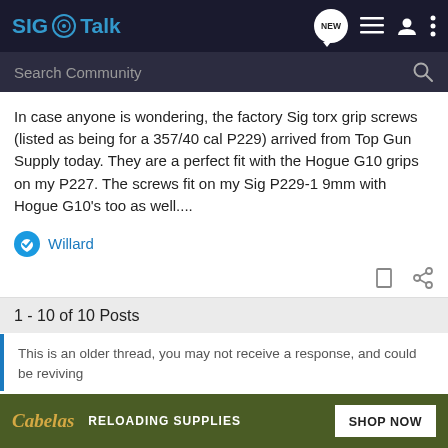SIG Talk
In case anyone is wondering, the factory Sig torx grip screws (listed as being for a 357/40 cal P229) arrived from Top Gun Supply today. They are a perfect fit with the Hogue G10 grips on my P227. The screws fit on my Sig P229-1 9mm with Hogue G10's too as well....
Willard
1 - 10 of 10 Posts
This is an older thread, you may not receive a response, and could be reviving
[Figure (screenshot): Cabela's Reloading Supplies advertisement banner with Shop Now button]